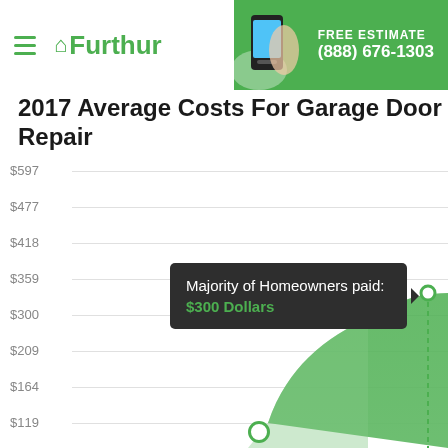Furthur — FREE ESTIMATE (888) 676-1303
2017 Average Costs For Garage Door Repair
[Figure (continuous-plot): A cost range chart for garage door repair showing a green curved area chart. Y-axis labels: $597, $477, $418, $359, $300, $209, $164, $119. A tooltip reads 'Majority of Homeowners paid: $300 Dollars'. A dashed vertical line and a circle marker appear at $300 on the right side. Another circle appears near $119 level.]